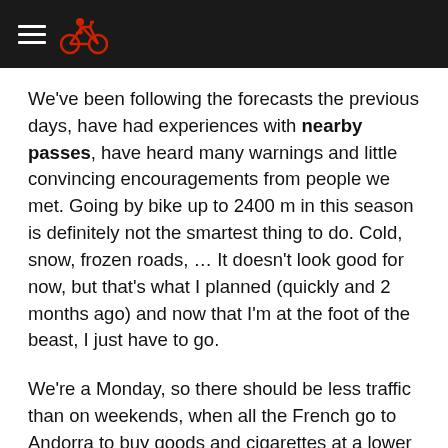[hamburger menu icon] [bicycle icon]
We’ve been following the forecasts the previous days, have had experiences with nearby passes, have heard many warnings and little convincing encouragements from people we met. Going by bike up to 2400 m in this season is definitely not the smartest thing to do. Cold, snow, frozen roads, … It doesn’t look good for now, but that's what I planned (quickly and 2 months ago) and now that I’m at the foot of the beast, I just have to go.
We’re a Monday, so there should be less traffic than on weekends, when all the French go to Andorra to buy goods and cigarettes at a lower price. The latest weather forecasts tell us about light rain and a cloudy sky, but with a light improvement at the end of the day. We don't trust the forecasts anyway, but this time, it matches with what we see out of the window: a light (more or less) rain.
If things go right, we’ll reach the Port d'Envalira at 2408 meters, 8 times in the program of the last 50 editions of the Tour de France, and then have a long descent down to the